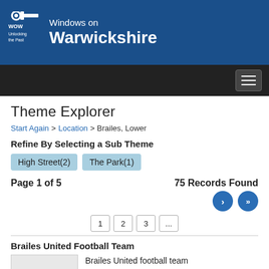Windows on Warwickshire — WOW Unlocking the Past
Theme Explorer
Start Again > Location > Brailes, Lower
Refine By Selecting a Sub Theme
High Street(2)
The Park(1)
Page 1 of 5    75 Records Found
1 2 3 ...
Brailes United Football Team
Brailes United football team